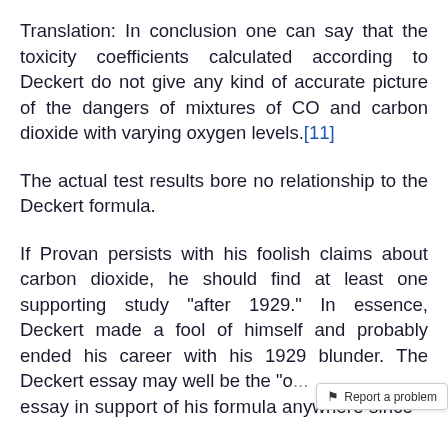Translation: In conclusion one can say that the toxicity coefficients calculated according to Deckert do not give any kind of accurate picture of the dangers of mixtures of CO and carbon dioxide with varying oxygen levels.[11]
The actual test results bore no relationship to the Deckert formula.
If Provan persists with his foolish claims about carbon dioxide, he should find at least one supporting study "after 1929." In essence, Deckert made a fool of himself and probably ended his career with his 1929 blunder. The Deckert essay may well be the "o... essay in support of his formula anywhere since